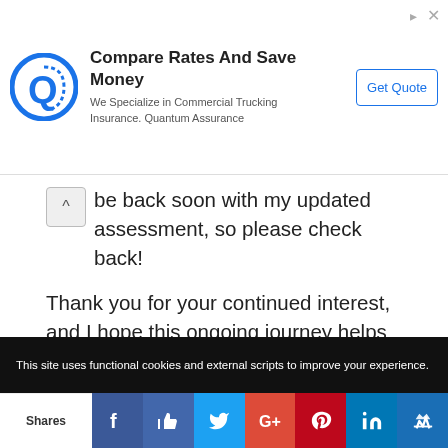[Figure (screenshot): Advertisement banner for Quantum Assurance: 'Compare Rates And Save Money - We Specialize in Commercial Trucking Insurance. Quantum Assurance' with a Q logo and Get Quote button]
be back soon with my updated assessment, so please check back!
Thank you for your continued interest, and I hope this ongoing journey helps you realize that you, too, can choose a niche and begin “giving people what they want.”
As always, if you have any questions or comments, please share them below!
This site uses functional cookies and external scripts to improve your experience.
Shares | Facebook | Like | Twitter | Google+ | Pinterest | LinkedIn | StumbleUpon